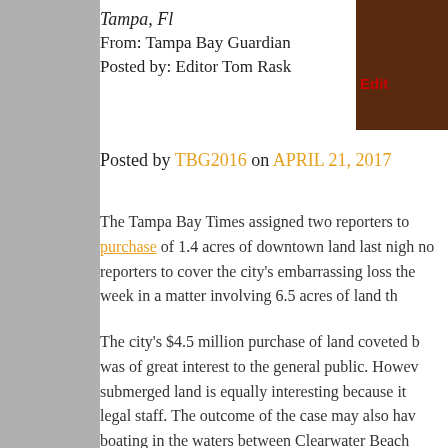Tampa, Fl
From: Tampa Bay Guardian
Posted by: Editor Tom Rask
[Figure (photo): Thumbnail image of a dark reddish-brown scene with text 'Edit' in red]
Posted by TBG2016 on APRIL 21, 2017
The Tampa Bay Times assigned two reporters to purchase of 1.4 acres of downtown land last nigh no reporters to cover the city's embarrassing loss the week in a matter involving 6.5 acres of land th
The city's $4.5 million purchase of land coveted b was of great interest to the general public. Howev submerged land is equally interesting because it legal staff. The outcome of the case may also hav boating in the waters between Clearwater Beach